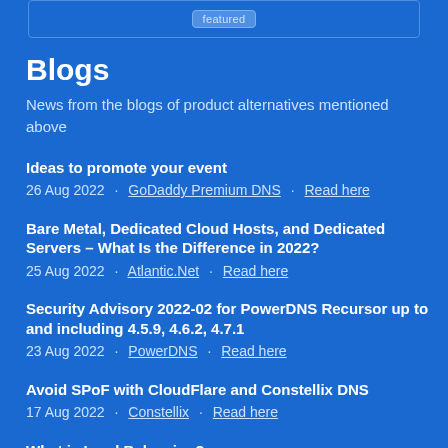Blogs
News from the blogs of product alternatives mentioned above
Ideas to promote your event · 26 Aug 2022 · GoDaddy Premium DNS · Read here
Bare Metal, Dedicated Cloud Hosts, and Dedicated Servers – What Is the Difference in 2022? · 25 Aug 2022 · Atlantic.Net · Read here
Security Advisory 2022-02 for PowerDNS Recursor up to and including 4.5.9, 4.6.2, 4.7.1 · 23 Aug 2022 · PowerDNS · Read here
Avoid SPoF with CloudFlare and Constellix DNS · 17 Aug 2022 · Constellix · Read here
What is Load Balancing?